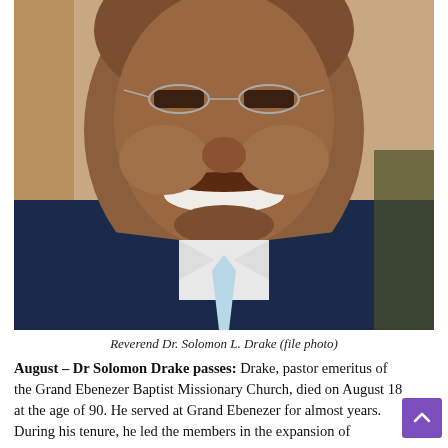[Figure (photo): Close-up portrait photo of Reverend Dr. Solomon L. Drake, an elderly man smiling broadly, wearing glasses, a dark navy suit jacket, white dress shirt, and a light blue tie.]
Reverend Dr. Solomon L. Drake (file photo)
August – Dr Solomon Drake passes: Drake, pastor emeritus of the Grand Ebenezer Baptist Missionary Church, died on August 18 at the age of 90. He served at Grand Ebenezer for almost years. During his tenure, he led the members in the expansion of